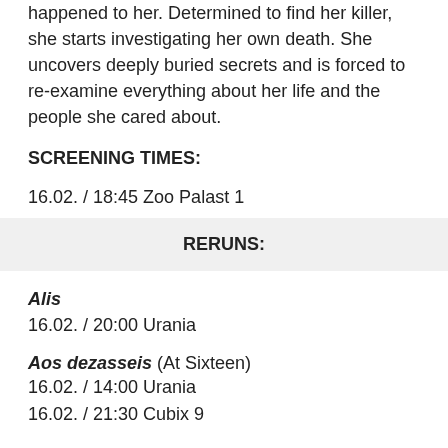happened to her. Determined to find her killer, she starts investigating her own death. She uncovers deeply buried secrets and is forced to re-examine everything about her life and the people she cared about.
SCREENING TIMES:
16.02. / 18:45 Zoo Palast 1
RERUNS:
Alis
16.02. / 20:00 Urania
Aos dezasseis (At Sixteen)
16.02. / 14:00 Urania
16.02. / 21:30 Cubix 9